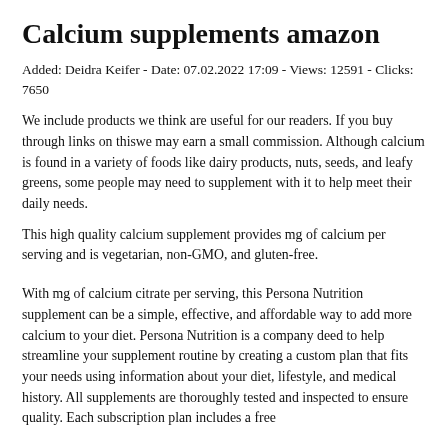Calcium supplements amazon
Added: Deidra Keifer - Date: 07.02.2022 17:09 - Views: 12591 - Clicks: 7650
We include products we think are useful for our readers. If you buy through links on thiswe may earn a small commission. Although calcium is found in a variety of foods like dairy products, nuts, seeds, and leafy greens, some people may need to supplement with it to help meet their daily needs.
This high quality calcium supplement provides mg of calcium per serving and is vegetarian, non-GMO, and gluten-free.
With mg of calcium citrate per serving, this Persona Nutrition supplement can be a simple, effective, and affordable way to add more calcium to your diet. Persona Nutrition is a company deed to help streamline your supplement routine by creating a custom plan that fits your needs using information about your diet, lifestyle, and medical history. All supplements are thoroughly tested and inspected to ensure quality. Each subscription plan includes a free